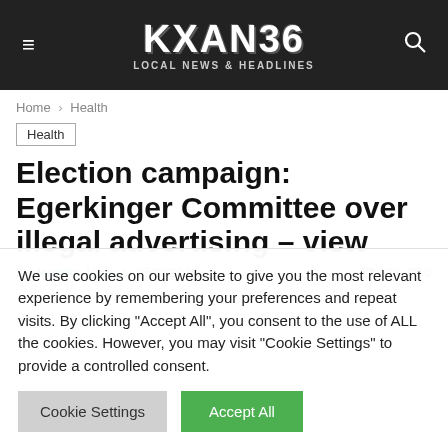KXAN36 LOCAL NEWS & HEADLINES
Home > Health
Health
Election campaign: Egerkinger Committee over illegal advertising – view
By Jennifer Alvarez - 05/10/2019  528  0
We use cookies on our website to give you the most relevant experience by remembering your preferences and repeat visits. By clicking "Accept All", you consent to the use of ALL the cookies. However, you may visit "Cookie Settings" to provide a controlled consent.